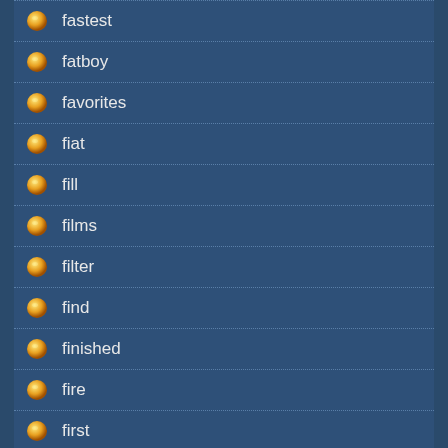fastest
fatboy
favorites
fiat
fill
films
filter
find
finished
fire
first
fishing
five
fixing